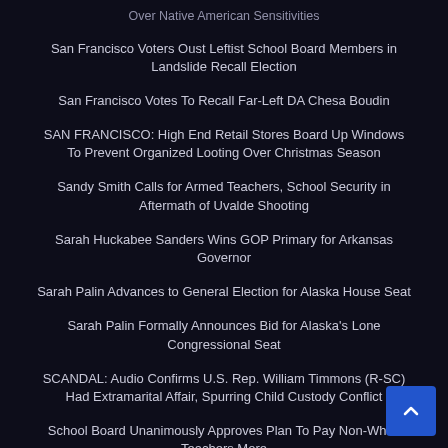Over Native American Sensitivities
San Francisco Voters Oust Leftist School Board Members in Landslide Recall Election
San Francisco Votes To Recall Far-Left DA Chesa Boudin
SAN FRANCISCO: High End Retail Stores Board Up Windows To Prevent Organized Looting Over Christmas Season
Sandy Smith Calls for Armed Teachers, School Security in Aftermath of Uvalde Shooting
Sarah Huckabee Sanders Wins GOP Primary for Arkansas Governor
Sarah Palin Advances to General Election for Alaska House Seat
Sarah Palin Formally Announces Bid for Alaska's Lone Congressional Seat
SCANDAL: Audio Confirms U.S. Rep. William Timmons (R-SC) Had Extramarital Affair, Spurring Child Custody Conflict
School Board Unanimously Approves Plan To Pay Non-White Teachers More